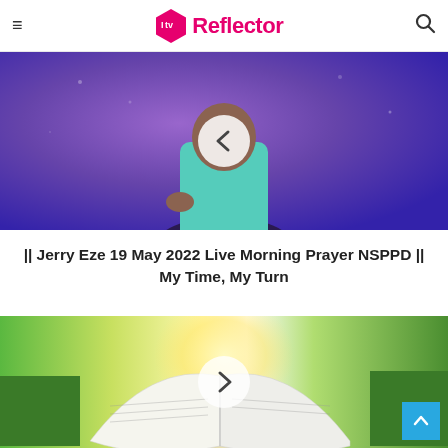ItvReflector
[Figure (photo): Video thumbnail showing a man in a teal/mint polo shirt against a purple/blue background with a circular back-arrow button overlay]
|| Jerry Eze 19 May 2022 Live Morning Prayer NSPPD || My Time, My Turn
[Figure (photo): Video thumbnail showing an open Bible book on a path with green trees and bright sunlight, with a circular forward-arrow button overlay]